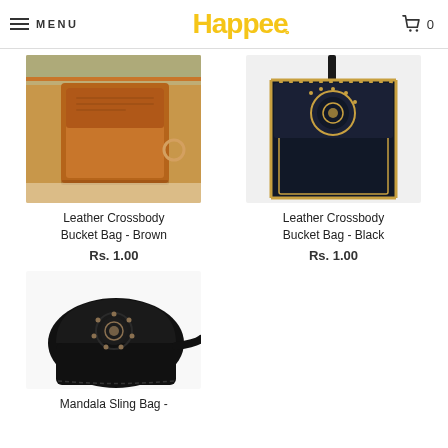MENU  Happee  0
[Figure (photo): Brown leather crossbody bucket bag photograph on decorative background]
[Figure (photo): Black leather crossbody bucket bag with gold stud trim and circular ornament]
Leather Crossbody Bucket Bag - Brown
Rs. 1.00
Leather Crossbody Bucket Bag - Black
Rs. 1.00
[Figure (photo): Black mandala sling bag with circular medallion hardware and strap]
Mandala Sling Bag -